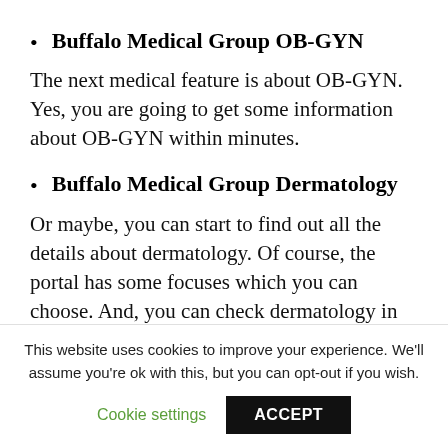Buffalo Medical Group OB-GYN
The next medical feature is about OB-GYN. Yes, you are going to get some information about OB-GYN within minutes.
Buffalo Medical Group Dermatology
Or maybe, you can start to find out all the details about dermatology. Of course, the portal has some focuses which you can choose. And, you can check dermatology in case you want to use the features.
This website uses cookies to improve your experience. We'll assume you're ok with this, but you can opt-out if you wish.
Cookie settings    ACCEPT